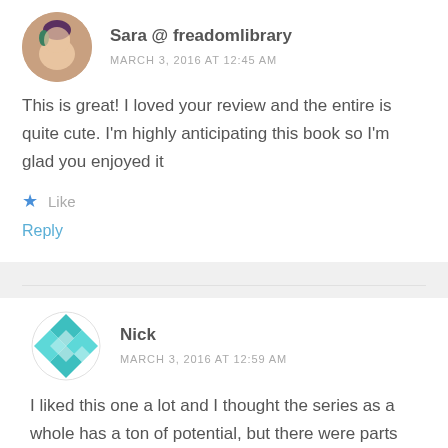[Figure (photo): Circular avatar photo of Sara, a young woman with purple-tipped hair]
Sara @ freadomlibrary
MARCH 3, 2016 AT 12:45 AM
This is great! I loved your review and the entire is quite cute. I'm highly anticipating this book so I'm glad you enjoyed it
Like
Reply
[Figure (logo): Circular avatar icon for Nick, a teal geometric/quilt pattern design]
Nick
MARCH 3, 2016 AT 12:59 AM
I liked this one a lot and I thought the series as a whole has a ton of potential, but there were parts where I definitely have some feedback with some of the